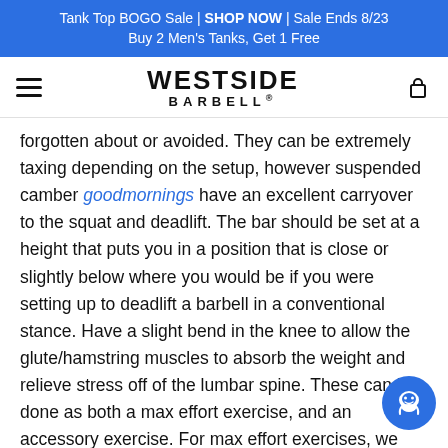Tank Top BOGO Sale | SHOP NOW | Sale Ends 8/23
Buy 2 Men's Tanks, Get 1 Free
[Figure (logo): Westside Barbell logo with hamburger menu and cart icon]
forgotten about or avoided. They can be extremely taxing depending on the setup, however suspended camber goodmornings have an excellent carryover to the squat and deadlift. The bar should be set at a height that puts you in a position that is close or slightly below where you would be if you were setting up to deadlift a barbell in a conventional stance. Have a slight bend in the knee to allow the glute/hamstring muscles to absorb the weight and relieve stress off of the lumbar spine. These can be done as both a max effort exercise, and an accessory exercise. For max effort exercises, we recommend beginner lifters stay within the three to five rep range, while advanced lifters can work up to single